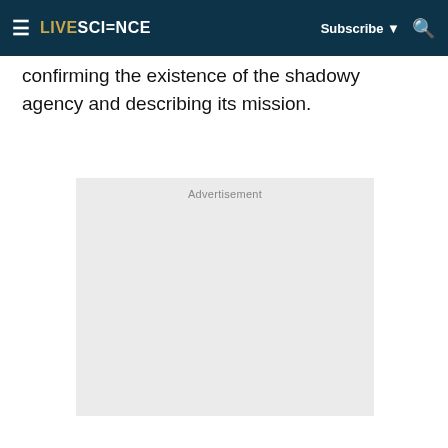LIVESCIENCE Subscribe ▼ 🔍
confirming the existence of the shadowy agency and describing its mission.
[Figure (other): Advertisement placeholder box with light gray background and 'Advertisement' label at top center]